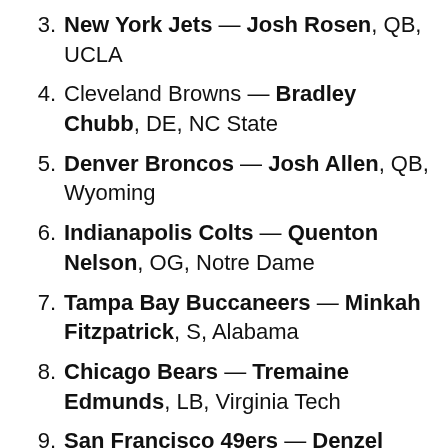3. New York Jets — Josh Rosen, QB, UCLA
4. Cleveland Browns — Bradley Chubb, DE, NC State
5. Denver Broncos — Josh Allen, QB, Wyoming
6. Indianapolis Colts — Quenton Nelson, OG, Notre Dame
7. Tampa Bay Buccaneers — Minkah Fitzpatrick, S, Alabama
8. Chicago Bears — Tremaine Edmunds, LB, Virginia Tech
9. San Francisco 49ers — Denzel Ward, CB, Ohio State
10. Oakland Raiders — Vita Vea, DT, Washington
11. Miami Dolphins — Baker Mayfield, QB,